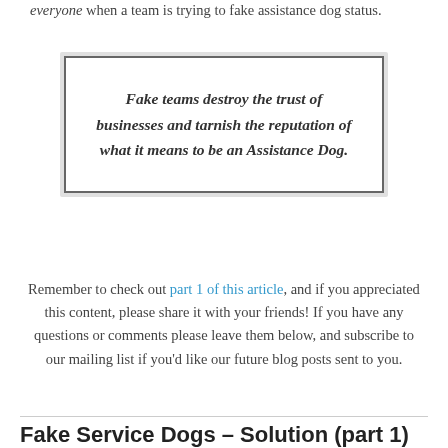everyone when a team is trying to fake assistance dog status.
Fake teams destroy the trust of businesses and tarnish the reputation of what it means to be an Assistance Dog.
Remember to check out part 1 of this article, and if you appreciated this content, please share it with your friends! If you have any questions or comments please leave them below, and subscribe to our mailing list if you'd like our future blog posts sent to you.
Fake Service Dogs – Solution (part 1)